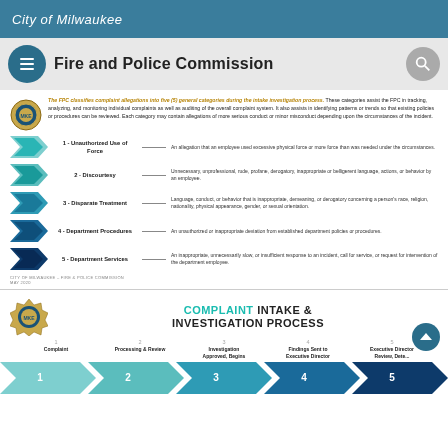City of Milwaukee
Fire and Police Commission
The FPC classifies complaint allegations into five (5) general categories during the intake investigation process. These categories assist the FPC in tracking, analyzing, and monitoring individual complaints as well as auditing of the overall complaint system. It also assists in identifying patterns or trends so that existing policies or procedures can be reviewed. Each category may contain allegations of more serious conduct or minor misconduct depending upon the circumstances of the incident.
1 - Unauthorized Use of Force — An allegation that an employee used excessive physical force or more force than was needed under the circumstances.
2 - Discourtesy — Unnecessary, unprofessional, rude, profane, derogatory, inappropriate or belligerent language, actions, or behavior by an employee.
3 - Disparate Treatment — Language, conduct, or behavior that is inappropriate, demeaning, or derogatory concerning a person's race, religion, nationality, physical appearance, gender, or sexual orientation.
4 - Department Procedures — An unauthorized or inappropriate deviation from established department policies or procedures.
5 - Department Services — An inappropriate, unnecessarily slow, or insufficient response to an incident, call for service, or request for intervention of the department employee.
CITY OF MILWAUKEE – FIRE & POLICE COMMISSION
MAY 2020
COMPLAINT INTAKE & INVESTIGATION PROCESS
1 Complaint   2 Processing & Review   3 Investigation Approved, Begins   4 Findings Sent to Executive Director   5 Executive Director Review, Determination